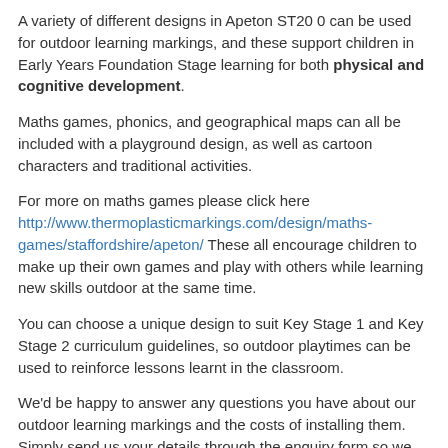A variety of different designs in Apeton ST20 0 can be used for outdoor learning markings, and these support children in Early Years Foundation Stage learning for both physical and cognitive development.
Maths games, phonics, and geographical maps can all be included with a playground design, as well as cartoon characters and traditional activities.
For more on maths games please click here http://www.thermoplasticmarkings.com/design/maths-games/staffordshire/apeton/ These all encourage children to make up their own games and play with others while learning new skills outdoor at the same time.
You can choose a unique design to suit Key Stage 1 and Key Stage 2 curriculum guidelines, so outdoor playtimes can be used to reinforce lessons learnt in the classroom.
We'd be happy to answer any questions you have about our outdoor learning markings and the costs of installing them. Simply send us your details through the enquiry form so we can get back